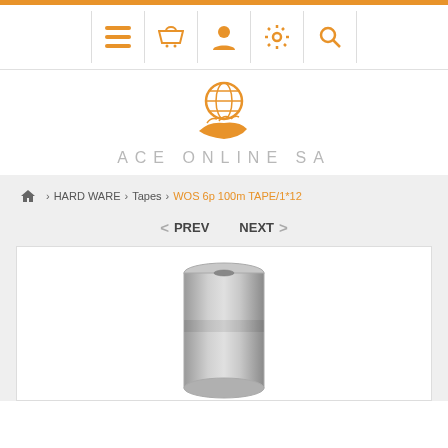Navigation icons: menu, basket, account, settings, search
[Figure (logo): Ace Online SA logo - orange globe held by hand icon with text ACE ONLINE SA in gray]
Home > HARD WARE > Tapes > WOS 6p 100m TAPE/1*12
< PREV    NEXT >
[Figure (photo): Product photo of a roll of clear tape/film, cylindrical shape, grayish-silver color]